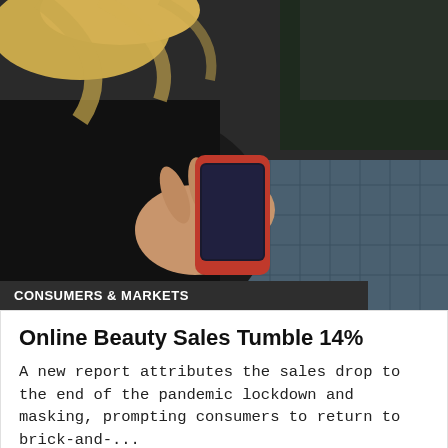[Figure (photo): Person holding a red smartphone while sitting on a grey quilted blanket, viewed from above at an angle. The person has blonde hair and is wearing a dark jacket.]
CONSUMERS & MARKETS
Online Beauty Sales Tumble 14%
A new report attributes the sales drop to the end of the pandemic lockdown and masking, prompting consumers to return to brick-and-...
Jul 20th, 2022
Contact Us   Editorial Submissions   Advertise   Privacy Policy   Legal Terms   Site Map